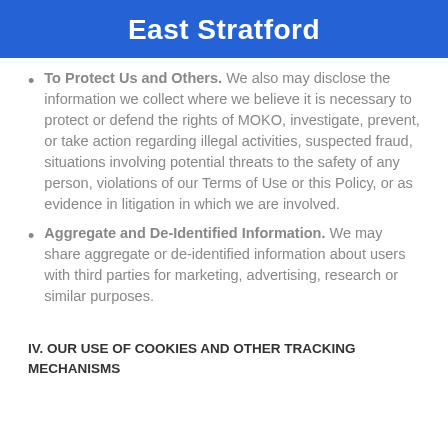East Stratford
To Protect Us and Others. We also may disclose the information we collect where we believe it is necessary to protect or defend the rights of MOKO, investigate, prevent, or take action regarding illegal activities, suspected fraud, situations involving potential threats to the safety of any person, violations of our Terms of Use or this Policy, or as evidence in litigation in which we are involved.
Aggregate and De-Identified Information. We may share aggregate or de-identified information about users with third parties for marketing, advertising, research or similar purposes.
IV. OUR USE OF COOKIES AND OTHER TRACKING MECHANISMS